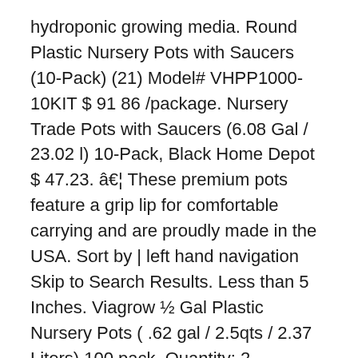hydroponic growing media. Round Plastic Nursery Pots with Saucers (10-Pack) (21) Model# VHPP1000-10KIT $ 91 86 /package. Nursery Trade Pots with Saucers (6.08 Gal / 23.02 l) 10-Pack, Black Home Depot $ 47.23. â¦ These premium pots feature a grip lip for comfortable carrying and are proudly made in the USA. Sort by | left hand navigation Skip to Search Results. Less than 5 Inches. Viagrow ½ Gal Plastic Nursery Pots ( .62 gal / 2.5qts / 2.37 Liters) 100 pack. Quantity: 2 available. The raised rim design allows easy handling and easy stack ability when not in use. A Trade gallon is a term used to denote the sizes of standard plant containers in horticultural industries. Viagrow nursery pots are BPA free and food safe. Find many great new & used options and get the best deals for Viagrow Durable 5-Gallon Round Outdoor Garden Nursery Pot, 10-pack at the best online prices at eBay! Fast, FREE delivery, video streaming, music, and much more. Nursery pots for gardening are a staple of indoor growing. See Store Availability. Viagrow - Rim design allows easy handling. Plastic Nursery Pots (3.78 Liters) 20-Pack 4.6 out of 5